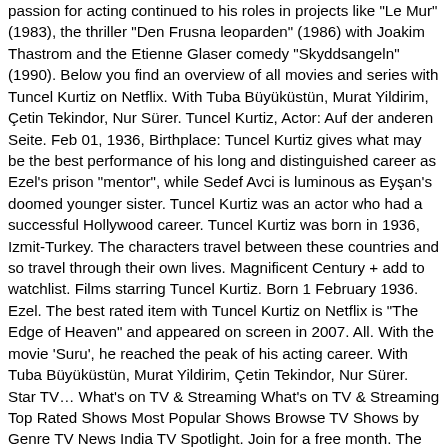passion for acting continued to his roles in projects like "Le Mur" (1983), the thriller "Den Frusna leoparden" (1986) with Joakim Thastrom and the Etienne Glaser comedy "Skyddsangeln" (1990). Below you find an overview of all movies and series with Tuncel Kurtiz on Netflix. With Tuba Büyüküstün, Murat Yildirim, Çetin Tekindor, Nur Sürer. Tuncel Kurtiz, Actor: Auf der anderen Seite. Feb 01, 1936, Birthplace: Tuncel Kurtiz gives what may be the best performance of his long and distinguished career as Ezel's prison "mentor", while Sedef Avci is luminous as Eyşan's doomed younger sister. Tuncel Kurtiz was an actor who had a successful Hollywood career. Tuncel Kurtiz was born in 1936, Izmit-Turkey. The characters travel between these countries and so travel through their own lives. Magnificent Century + add to watchlist. Films starring Tuncel Kurtiz. Born 1 February 1936. Ezel. The best rated item with Tuncel Kurtiz on Netflix is "The Edge of Heaven" and appeared on screen in 2007. All. With the movie 'Suru', he reached the peak of his acting career. With Tuba Büyüküstün, Murat Yildirim, Çetin Tekindor, Nur Sürer. Star TV… What's on TV & Streaming What's on TV & Streaming Top Rated Shows Most Popular Shows Browse TV Shows by Genre TV News India TV Spotlight. Join for a free month. The Edge of Heaven (2007), Birthday: open keyboard shortcut window. He graduated from Istanbul University, English Language and Literature and started acting in 1956 with Dormen Theatre. Movie stills Alternative posters. Şener Şen (born 26 December 1941) is a Turkish film and theatre actor who has won the Golden Orange for Best Actor twice